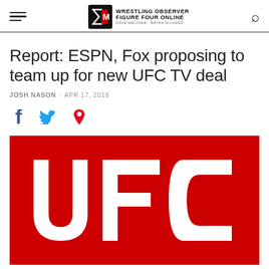Wrestling Observer Figure Four Online
Report: ESPN, Fox proposing to team up for new UFC TV deal
JOSH NASON · APR 17, 2018
[Figure (logo): UFC logo — white UFC letters on red background]
[Figure (logo): Wrestling Observer Figure Four Online logo badge]